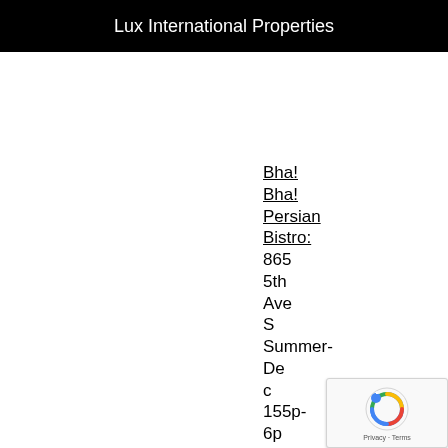Lux International Properties
Bha!
Bha!
Persian
Bistro:
865
5th
Ave
S
Summer-
De
c
155p-
6p
$36
Prix
Fix
menu
BICE